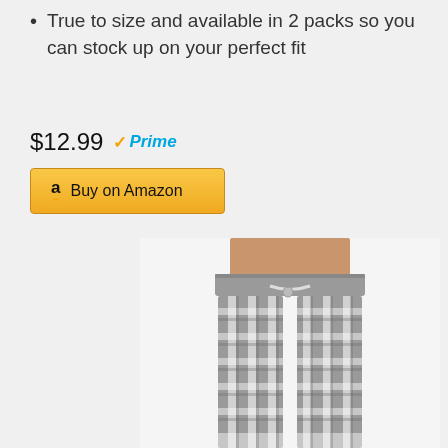True to size and available in 2 packs so you can stock up on your perfect fit
$12.99 ✓Prime
Buy on Amazon
[Figure (photo): Photo of gray and white plaid flannel pajama pants with drawstring waist, worn by a person showing the torso area]